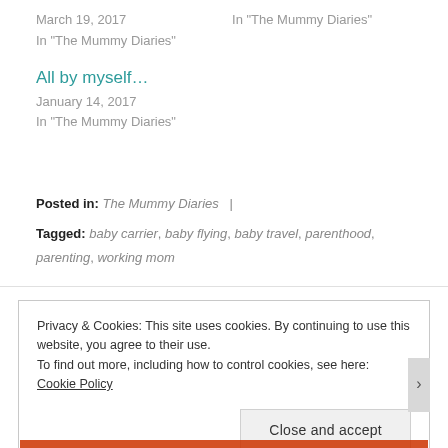March 19, 2017   In "The Mummy Diaries"
In "The Mummy Diaries"
All by myself…
January 14, 2017
In "The Mummy Diaries"
Posted in: The Mummy Diaries  |  Tagged: baby carrier, baby flying, baby travel, parenthood, parenting, working mom
Privacy & Cookies: This site uses cookies. By continuing to use this website, you agree to their use. To find out more, including how to control cookies, see here: Cookie Policy